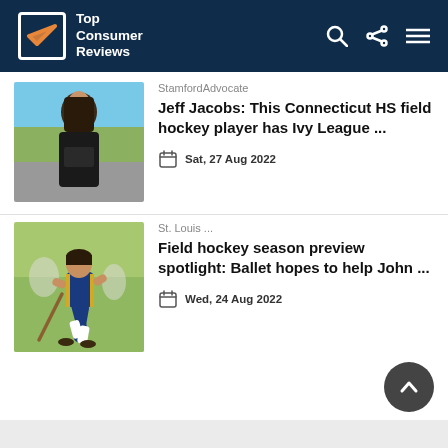Top Consumer Reviews
StamfordAdvocate
Jeff Jacobs: This Connecticut HS field hockey player has Ivy League ...
Sat, 27 Aug 2022
St. Louis ...
Field hockey season preview spotlight: Ballet hopes to help John ...
Wed, 24 Aug 2022